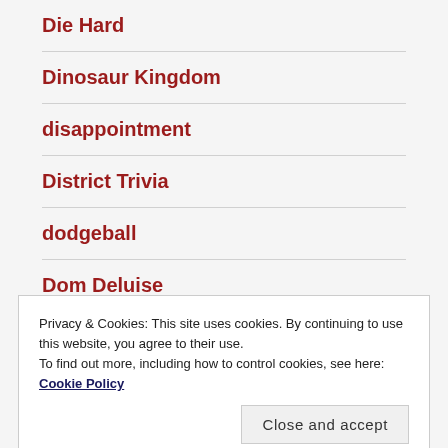Die Hard
Dinosaur Kingdom
disappointment
District Trivia
dodgeball
Dom Deluise
Privacy & Cookies: This site uses cookies. By continuing to use this website, you agree to their use. To find out more, including how to control cookies, see here: Cookie Policy
dorks